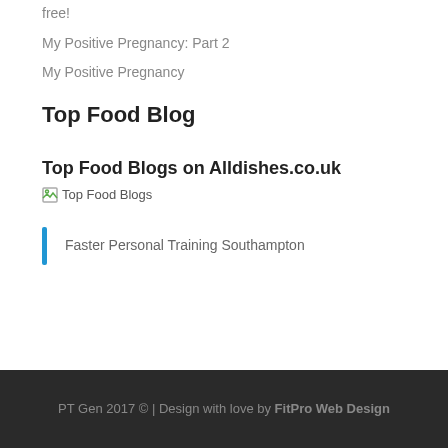free!
My Positive Pregnancy: Part 2
My Positive Pregnancy
Top Food Blog
Top Food Blogs on Alldishes.co.uk
[Figure (photo): Top Food Blogs image placeholder]
Faster Personal Training Southampton
PT Gen 2017 © | Design with love by FitPro Web Design